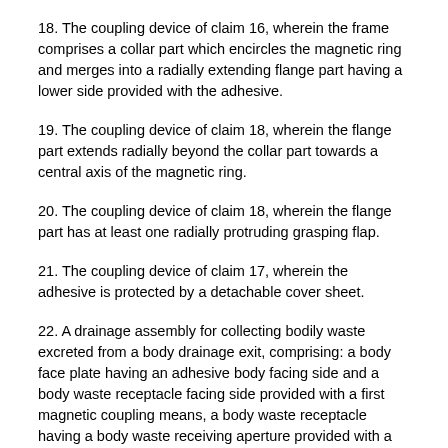18. The coupling device of claim 16, wherein the frame comprises a collar part which encircles the magnetic ring and merges into a radially extending flange part having a lower side provided with the adhesive.
19. The coupling device of claim 18, wherein the flange part extends radially beyond the collar part towards a central axis of the magnetic ring.
20. The coupling device of claim 18, wherein the flange part has at least one radially protruding grasping flap.
21. The coupling device of claim 17, wherein the adhesive is protected by a detachable cover sheet.
22. A drainage assembly for collecting bodily waste excreted from a body drainage exit, comprising: a body face plate having an adhesive body facing side and a body waste receptacle facing side provided with a first magnetic coupling means, a body waste receptacle having a body waste receiving aperture provided with a second coupling means for mating with the first magnetic coupling means on the body face plate to provide a leak proof fluid connection between the first coupling means and the second coupling means, wherein the first magnetic coupling means is the coupling device according to claim 16, the second coupling means is a mating ring of a material having the mating ring magnetically with the magnetic ring.